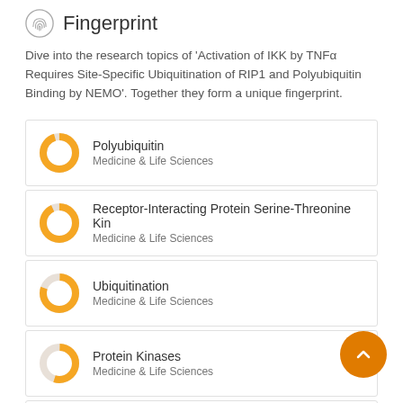Fingerprint
Dive into the research topics of 'Activation of IKK by TNFα Requires Site-Specific Ubiquitination of RIP1 and Polyubiquitin Binding by NEMO'. Together they form a unique fingerprint.
Polyubiquitin — Medicine & Life Sciences
Receptor-Interacting Protein Serine-Threonine Kin — Medicine & Life Sciences
Ubiquitination — Medicine & Life Sciences
Protein Kinases — Medicine & Life Sciences
Tumor Necrosis Factor-alpha